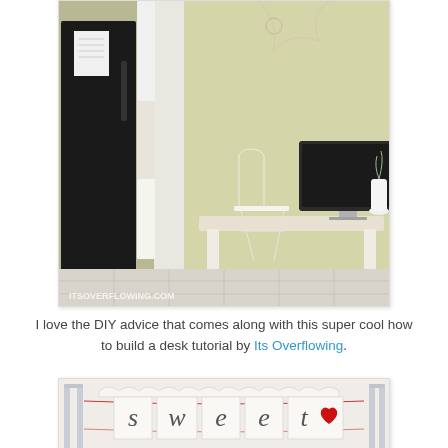[Figure (photo): Interior photo of a home office nook beside a kitchen. Shows a white desk with an iMac computer, white chair, and kitchen area with black refrigerator and white cabinets. Watermark reads ITSOVERFLOWING.COM at bottom left.]
I love the DIY advice that comes along with this super cool how to build a desk tutorial by Its Overflowing.
[Figure (photo): Photo of a decorative banner with scalloped edges hanging between two chairs. The banner spells out 'sweet' with a red heart symbol, tied with red ribbon.]